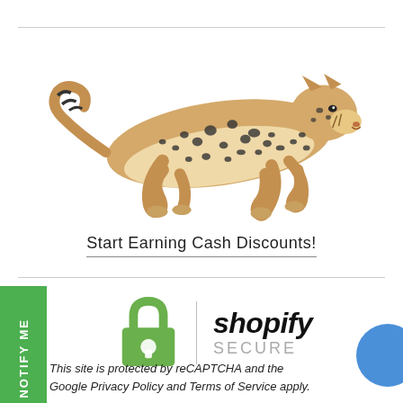[Figure (photo): A cheetah in full sprint, leaping horizontally across a white background, spotted coat visible, tail extended to the left.]
Start Earning Cash Discounts!
[Figure (logo): Shopify Secure logo with green padlock icon containing a keyhole, vertical divider, and 'shopify SECURE' text in bold italic.]
NOTIFY ME
This site is protected by reCAPTCHA and the Google Privacy Policy and Terms of Service apply.